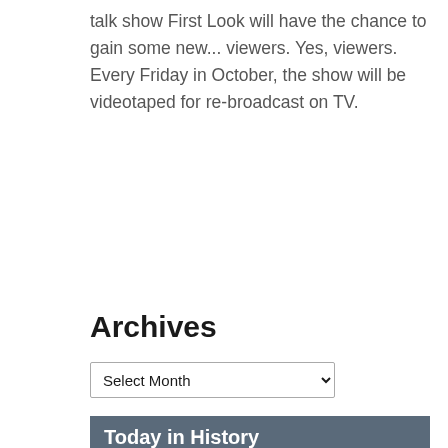talk show First Look will have the chance to gain some new... viewers. Yes, viewers. Every Friday in October, the show will be videotaped for re-broadcast on TV.
Read More
Archives
Select Month
Today in History
2012